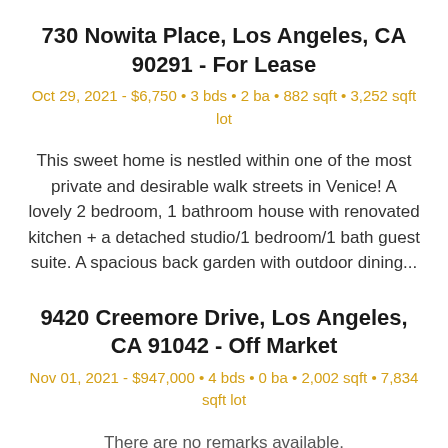730 Nowita Place, Los Angeles, CA 90291 - For Lease
Oct 29, 2021 - $6,750 • 3 bds • 2 ba • 882 sqft • 3,252 sqft lot
This sweet home is nestled within one of the most private and desirable walk streets in Venice! A lovely 2 bedroom, 1 bathroom house with renovated kitchen + a detached studio/1 bedroom/1 bath guest suite. A spacious back garden with outdoor dining...
9420 Creemore Drive, Los Angeles, CA 91042 - Off Market
Nov 01, 2021 - $947,000 • 4 bds • 0 ba • 2,002 sqft • 7,834 sqft lot
There are no remarks available.
1001 Orange Avenue, Beaumont, CA 92223 -